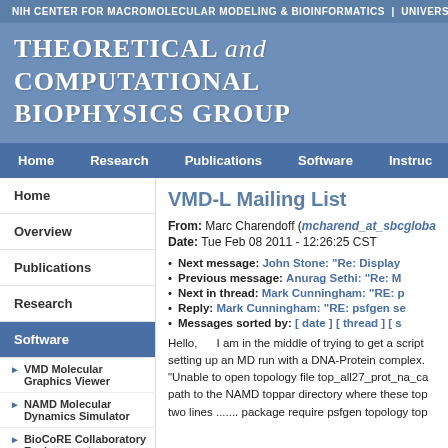NIH CENTER FOR MACROMOLECULAR MODELING & BIOINFORMATICS | UNIVERSIT
Theoretical and Computational Biophysics Group
Home | Research | Publications | Software | Instruc
VMD-L Mailing List
From: Marc Charendoff (mcharend_at_sbcgloba
Date: Tue Feb 08 2011 - 12:26:25 CST
Next message: John Stone: "Re: Display
Previous message: Anurag Sethi: "Re: M
Next in thread: Mark Cunningham: "RE: p
Reply: Mark Cunningham: "RE: psfgen se
Messages sorted by: [ date ] [ thread ] [ s
Hello,      I am in the middle of trying to get a script setting up an MD run with a DNA-Protein complex. "Unable to open topology file top_all27_prot_na_ca path to the NAMD toppar directory where these top two lines ....... package require psfgen topology top